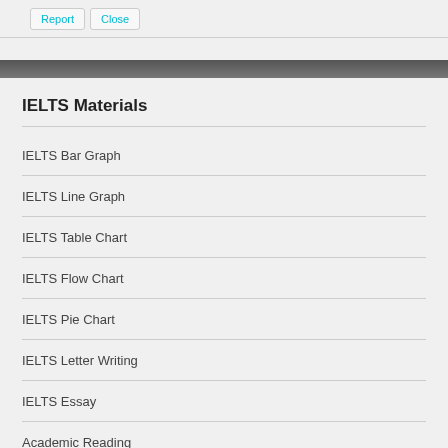[Figure (screenshot): Top bar with Report and Close buttons]
IELTS Materials
IELTS Bar Graph
IELTS Line Graph
IELTS Table Chart
IELTS Flow Chart
IELTS Pie Chart
IELTS Letter Writing
IELTS Essay
Academic Reading
GT Reading